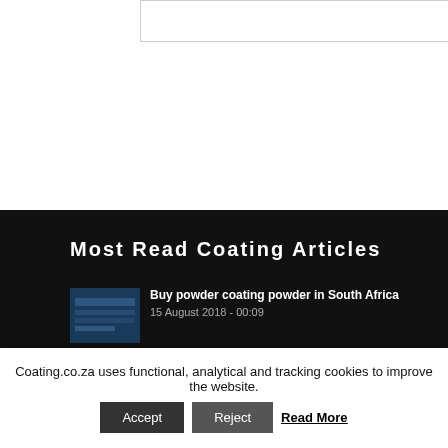[Figure (other): Text area input box for comment]
Post Comment
Most Read Coating Articles
[Figure (photo): Thumbnail image for powder coating article]
Buy powder coating powder in South Africa
15 August 2018 - 00:09
[Figure (photo): Thumbnail image for marine coating article]
Marine Coating Guide South Africa
18 May 2018 - 00:00
Coating.co.za uses functional, analytical and tracking cookies to improve the website.
Accept
Reject
Read More